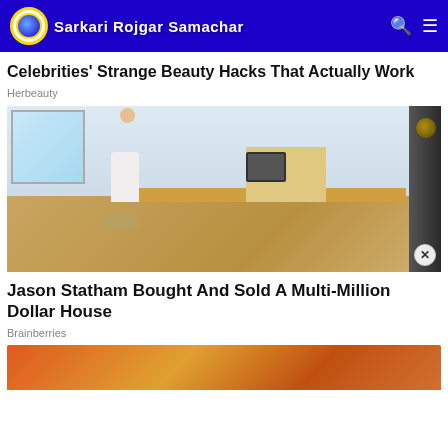Sarkari Rojgar Samachar
Celebrities' Strange Beauty Hacks That Actually Work
Herbeauty
[Figure (photo): Man sitting in an office chair at a wooden desk with a monitor, large speaker visible on the right side]
Jason Statham Bought And Sold A Multi-Million Dollar House
Brainberries
[Figure (photo): Partial view of food items at the bottom of the page]